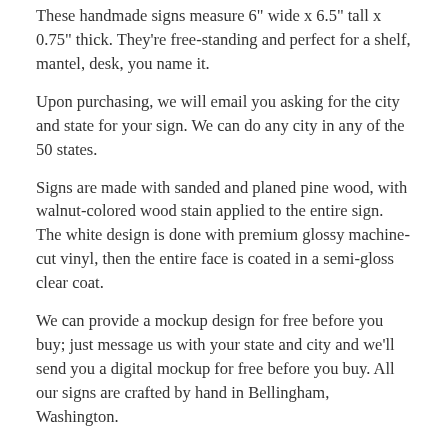These handmade signs measure 6" wide x 6.5" tall x 0.75" thick. They're free-standing and perfect for a shelf, mantel, desk, you name it.
Upon purchasing, we will email you asking for the city and state for your sign. We can do any city in any of the 50 states.
Signs are made with sanded and planed pine wood, with walnut-colored wood stain applied to the entire sign. The white design is done with premium glossy machine-cut vinyl, then the entire face is coated in a semi-gloss clear coat.
We can provide a mockup design for free before you buy; just message us with your state and city and we'll send you a digital mockup for free before you buy. All our signs are crafted by hand in Bellingham, Washington.
After purchasing, you will receive an email asking for the city and state for your sign, and will receive a digital proof for approval before the sign is manufactured.
We can ship anywhere in the United States, or we have a staffed pickup counter in Bellingham, WA, open 6 days a week, offering free no-contact order pickup. Just select "Local Pickup" at checkout and you will receive